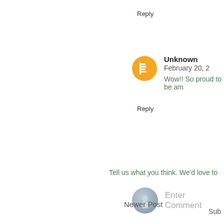Reply
Unknown  February 20, 2
Wow!! So proud to be am
Reply
[Figure (illustration): Gray default user avatar circle with silhouette]
Enter Comment
Tell us what you think. We'd love to
Newer Post
Sub